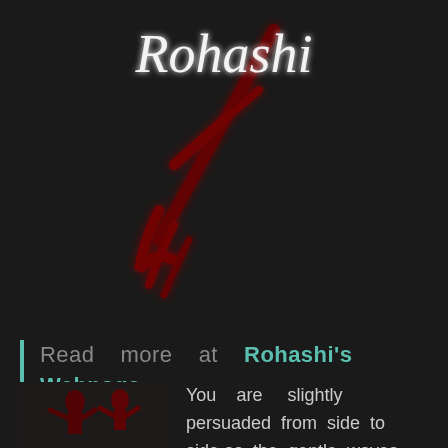[Figure (logo): Rohashi logo with stylized dark red sword/weapon graphic and white glowing text 'Rohashi' on dark background]
Read more at Rohashi's Webpage
[Figure (illustration): Small dark thumbnail illustration with dark red figures on dark background]
You are slightly persuaded from side to side as the gentle waves